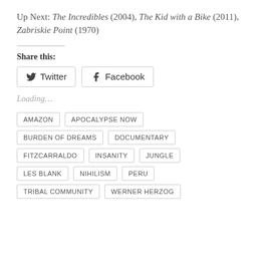Up Next: The Incredibles (2004), The Kid with a Bike (2011), Zabriskie Point (1970)
Share this:
Twitter  Facebook
Loading…
AMAZON
APOCALYPSE NOW
BURDEN OF DREAMS
DOCUMENTARY
FITZCARRALDO
INSANITY
JUNGLE
LES BLANK
NIHILISM
PERU
TRIBAL COMMUNITY
WERNER HERZOG